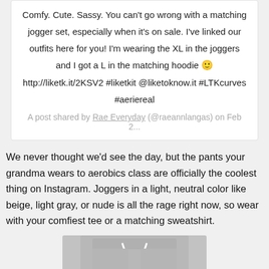Comfy. Cute. Sassy. You can't go wrong with a matching jogger set, especially when it's on sale. I've linked our outfits here for you! I'm wearing the XL in the joggers and I got a L in the matching hoodie 🙂 http://liketk.it/2KSV2 #liketkit @liketoknow.it #LTKcurves #aeriereal
A post shared by Rae Everyday (@raeannlangas) on Feb 2...
We never thought we'd see the day, but the pants your grandma wears to aerobics class are officially the coolest thing on Instagram. Joggers in a light, neutral color like beige, light gray, or nude is all the rage right now, so wear with your comfiest tee or a matching sweatshirt.
[Figure (photo): Partial view of gray jogger pants on a light background, showing the waistband with a white drawstring.]